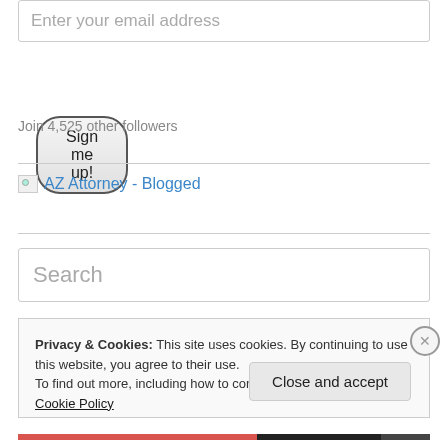Enter your email address
Sign me up!
Join 4,525 other followers
[Figure (other): AZ Attorney - Blogged logo/badge image link (broken image icon with blue link text)]
Search
Privacy & Cookies: This site uses cookies. By continuing to use this website, you agree to their use.
To find out more, including how to control cookies, see here: Cookie Policy
Close and accept